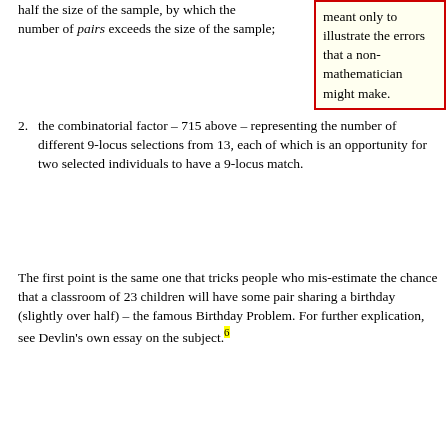half the size of the sample, by which the number of pairs exceeds the size of the sample;
meant only to illustrate the errors that a non-mathematician might make.
the combinatorial factor – 715 above – representing the number of different 9-locus selections from 13, each of which is an opportunity for two selected individuals to have a 9-locus match.
The first point is the same one that tricks people who mis-estimate the chance that a classroom of 23 children will have some pair sharing a birthday (slightly over half) – the famous Birthday Problem. For further explication, see Devlin's own essay on the subject.[6]
III. Conclusions
Bruce Budowle, an FBI and "pro-DNA" guy, gave a talk at the recent (October 12, 2006) Promega meeting in which he stated that there is no point in looking for partial matches in a database because the results will be meaningless since one does not know the relatedness of the individuals in the database. I disagree. The possible relatedness may be a